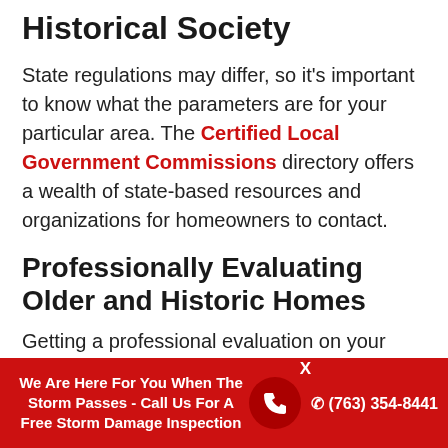Historical Society
State regulations may differ, so it's important to know what the parameters are for your particular area. The Certified Local Government Commissions directory offers a wealth of state-based resources and organizations for homeowners to contact.
Professionally Evaluating Older and Historic Homes
Getting a professional evaluation on your home is necessary in the simplest of cases – so it's paramount if you have an older and histo...
We Are Here For You When The Storm Passes - Call Us For A Free Storm Damage Inspection  (763) 354-8441